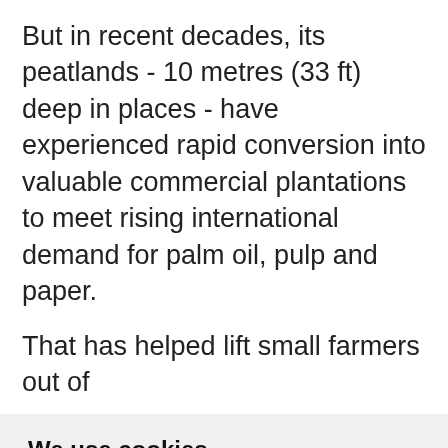But in recent decades, its peatlands - 10 metres (33 ft) deep in places - have experienced rapid conversion into valuable commercial plantations to meet rising international demand for palm oil, pulp and paper.

That has helped lift small farmers out of
We use cookies
We use cookies and other tracking technologies to improve your browsing experience on our website, to show you personalized content and targeted ads, to analyze our website traffic, and to understand where our visitors are coming from.